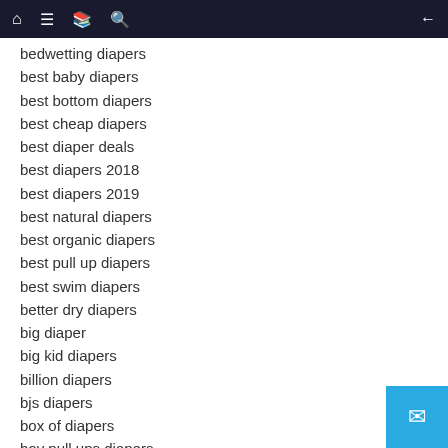Navigation bar with home, menu, bookmark, search, and back icons
bedwetting diapers
best baby diapers
best bottom diapers
best cheap diapers
best diaper deals
best diapers 2018
best diapers 2019
best natural diapers
best organic diapers
best pull up diapers
best swim diapers
better dry diapers
big diaper
big kid diapers
billion diapers
bjs diapers
box of diapers
boy pull ups diapers
boys wearing diapers
bulk diapers
bum diapers
bumgenius diapers
buttons diapers